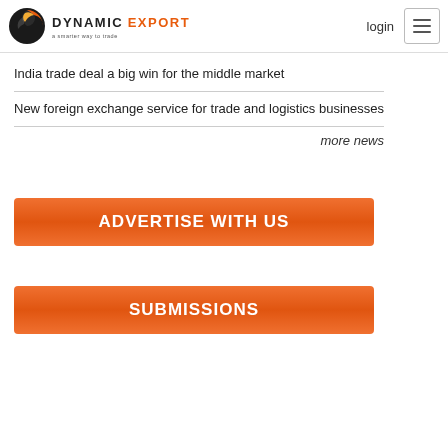DYNAMIC EXPORT — a smarter way to trade | login
India trade deal a big win for the middle market
New foreign exchange service for trade and logistics businesses
more news
[Figure (other): Orange button: ADVERTISE WITH US]
[Figure (other): Orange button: SUBMISSIONS]